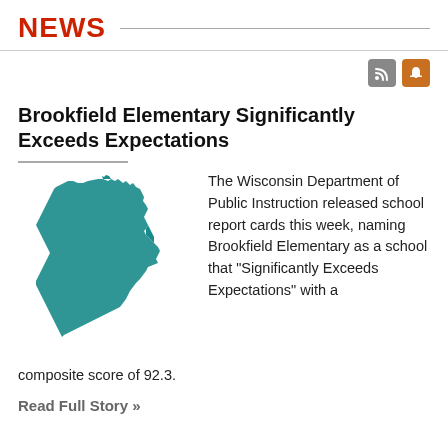NEWS
Brookfield Elementary Significantly Exceeds Expectations
[Figure (map): Silhouette map of Wisconsin state in teal/dark cyan color]
The Wisconsin Department of Public Instruction released school report cards this week, naming Brookfield Elementary as a school that "Significantly Exceeds Expectations" with a composite score of 92.3.
Read Full Story »